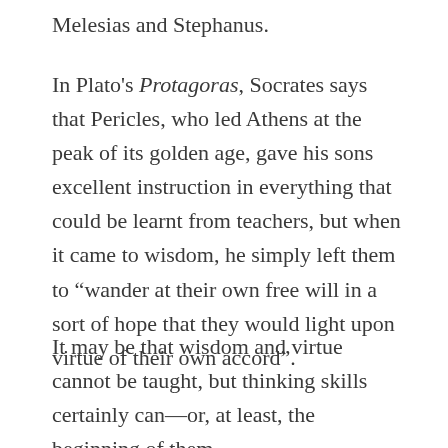Melesias and Stephanus.
In Plato’s Protagoras, Socrates says that Pericles, who led Athens at the peak of its golden age, gave his sons excellent instruction in everything that could be learnt from teachers, but when it came to wisdom, he simply left them to “wander at their own free will in a sort of hope that they would light upon virtue of their own accord”.
It may be that wisdom and virtue cannot be taught, but thinking skills certainly can—or, at least, the beginning of them.